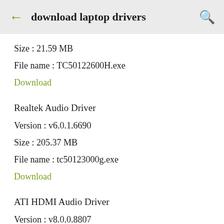download laptop drivers
Size : 21.59 MB
File name : TC50122600H.exe
Download
Realtek Audio Driver
Version : v6.0.1.6690
Size : 205.37 MB
File name : tc50123000g.exe
Download
ATI HDMI Audio Driver
Version : v8.0.0.8807